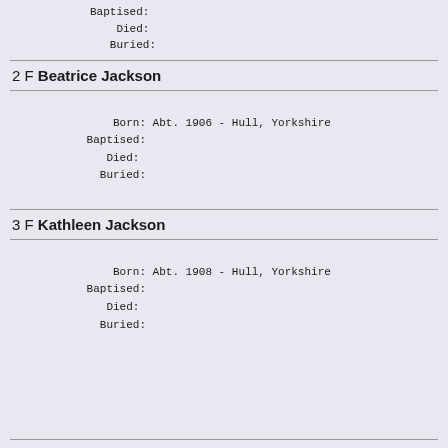Baptised:
Died:
Buried:
2 F Beatrice Jackson
Born: Abt. 1906 - Hull, Yorkshire
Baptised:
Died:
Buried:
3 F Kathleen Jackson
Born: Abt. 1908 - Hull, Yorkshire
Baptised:
Died:
Buried: